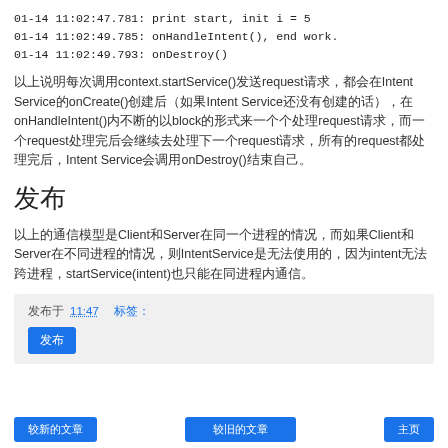01-14 11:02:47.781: print start, init i = 5
01-14 11:02:49.785: onHandleIntent(), end work.
01-14 11:02:49.793: onDestroy()
以上说明每次调用context.startService()发送request请求，都会在IntentService的onCreate()创建后（如果IntentService还没有创建的话），在onHandleIntent()内不断的以block的形式来一个个处理request请求，而一个request处理完后会继续去处理下一个request请求，所有的request都处理完后，Intent Service会调用onDestroy()结束自己。
发布
以上的通信模型是Client和Server在同一个进程的情况，而如果Client和Server在不同进程的情况，则IntentService是无法使用的，因为intent无法跨进程，startService(intent)也只能在同进程内通信。
发布于 11:47   标签：
发布
较新的文章   较旧的文章   主页